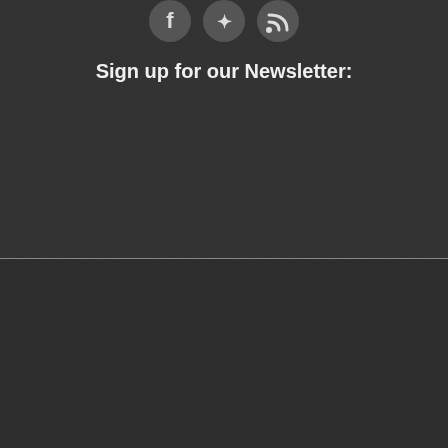[Figure (other): Social media icons (Facebook, Twitter, RSS) as circular buttons at top of page]
Sign up for our Newsletter:
About Us
Advertise With Us
Contact Us
Privacy Policy
Sitemap
Disclaimer
Newsletter Unsubscribe
The A List